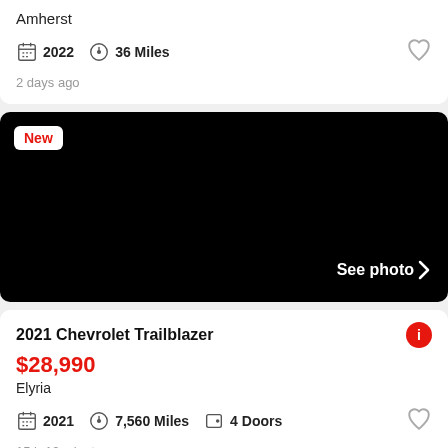Amherst
2022  36 Miles
2 days ago
[Figure (photo): Black car listing image with 'New' badge and 'See photo >' overlay text]
2021 Chevrolet Trailblazer
$28,990
Elyria
2021  7,560 Miles  4 Doors
15 h 12 minutes ago